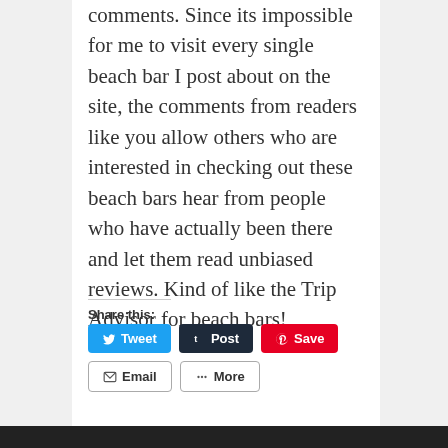comments. Since its impossible for me to visit every single beach bar I post about on the site, the comments from readers like you allow others who are interested in checking out these beach bars hear from people who have actually been there and let them read unbiased reviews. Kind of like the Trip Advisor for beach bars!
Share this:
[Figure (other): Social share buttons: Tweet (Twitter/blue), Post (Tumblr/dark), Save (Pinterest/red), Email (outline), More (outline)]